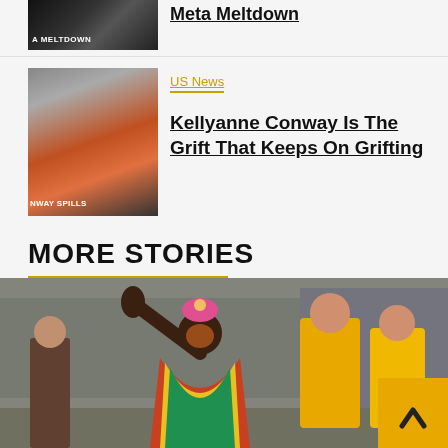[Figure (photo): Thumbnail image with text 'A MELTDOWN' overlay, dark background]
Meta Meltdown
[Figure (photo): Thumbnail image of Kellyanne Conway with text 'NWAY SPILLS' overlay]
US News
Kellyanne Conway Is The Grift That Keeps On Grifting
MORE STORIES
[Figure (photo): Large photo of a carnival/parade dancer in colorful costume with mask, raising hand, with other performers in yellow costumes in background]